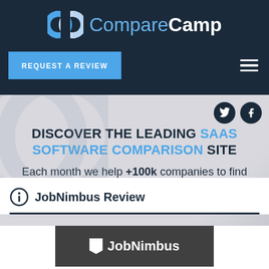[Figure (logo): CompareCamp logo with two interlocking C shapes in blue and white, next to text 'CompareCamp' in light blue and white]
REQUEST A REVIEW
[Figure (infographic): Hero section with text: DISCOVER THE LEADING SAAS SOFTWARE COMPARISON SITE. Each month we help +100k companies to find efficient online tools. Twitter and Facebook social icons top right.]
JobNimbus Review
[Figure (logo): JobNimbus logo: dark gray box with white shield/flag icon and white text 'JobNimbus']